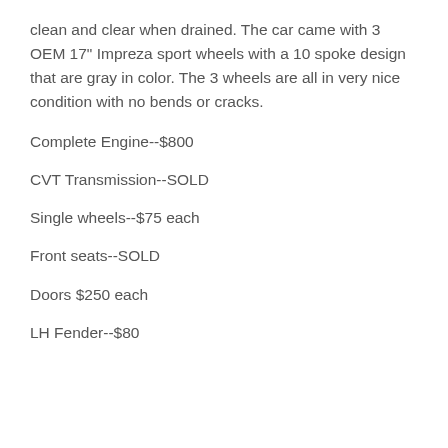clean and clear when drained. The car came with 3 OEM 17" Impreza sport wheels with a 10 spoke design that are gray in color. The 3 wheels are all in very nice condition with no bends or cracks.
Complete Engine--$800
CVT Transmission--SOLD
Single wheels--$75 each
Front seats--SOLD
Doors $250 each
LH Fender--$80